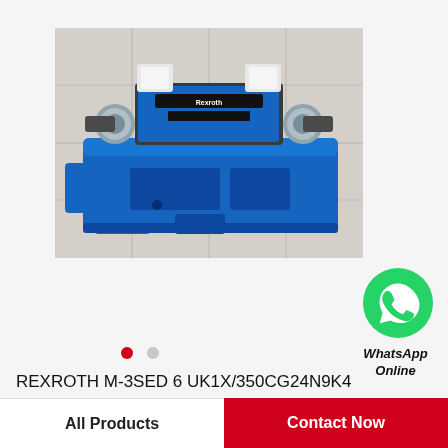[Figure (photo): Blue Rexroth M-3SED 6 UK1X/350CG24N9K4 hydraulic directional valve with silver solenoid coils on both sides and white connectors on top, sitting on a tiled floor. Brand label visible on top center.]
[Figure (logo): WhatsApp green circle logo icon with phone handset in white]
WhatsApp
Online
REXROTH M-3SED 6 UK1X/350CG24N9K4 R900052621 Valves
All Products
Contact Now